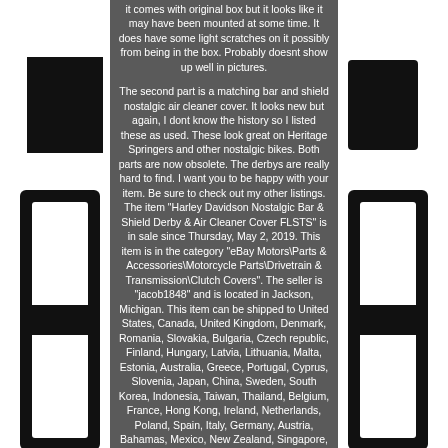[Figure (illustration): Black and white logo/graphic elements on left side margin]
it comes with original box but it looks like it may have been mounted at some time. It does have some light scratches on it possibly from being in the box. Probably doesnt show up well in pictures.

The second part is a matching bar and shield nostalgic air cleaner cover. It looks new but again, I dont know the history so I listed these as used. These look great on Heritage Springers and other nostalgic bikes. Both parts are now obsolete. The derbys are really hard to find. I want you to be happy with your item. Be sure to check out my other listings. The item "Harley Davidson Nostalgic Bar & Shield Derby & Air Cleaner Cover FLSTS" is in sale since Thursday, May 2, 2019. This item is in the category "eBay Motors\Parts & Accessories\Motorcycle Parts\Drivetrain & Transmission\Clutch Covers". The seller is "jacob1848" and is located in Jackson, Michigan. This item can be shipped to United States, Canada, United Kingdom, Denmark, Romania, Slovakia, Bulgaria, Czech republic, Finland, Hungary, Latvia, Lithuania, Malta, Estonia, Australia, Greece, Portugal, Cyprus, Slovenia, Japan, China, Sweden, South Korea, Indonesia, Taiwan, Thailand, Belgium, France, Hong Kong, Ireland, Netherlands, Poland, Spain, Italy, Germany, Austria, Bahamas, Mexico, New Zealand, Singapore, Switzerland, Norway, Saudi arabia, United arab emirates, Qatar, Kuwait, Croatia, Malaysia, Colombia, Barbados, Bolivia, Gibraltar, Guadeloupe, Iceland, Jordan, Sri lanka
[Figure (illustration): Black and white logo/graphic elements on right side margin]